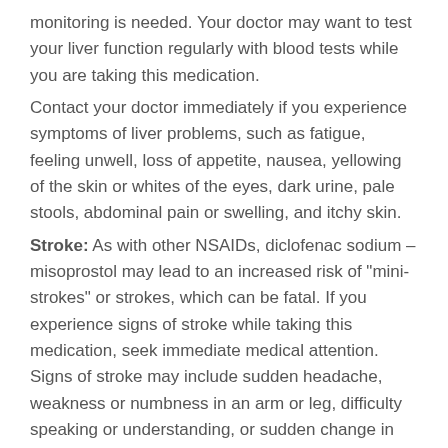monitoring is needed. Your doctor may want to test your liver function regularly with blood tests while you are taking this medication.
Contact your doctor immediately if you experience symptoms of liver problems, such as fatigue, feeling unwell, loss of appetite, nausea, yellowing of the skin or whites of the eyes, dark urine, pale stools, abdominal pain or swelling, and itchy skin.
Stroke: As with other NSAIDs, diclofenac sodium – misoprostol may lead to an increased risk of "mini-strokes" or strokes, which can be fatal. If you experience signs of stroke while taking this medication, seek immediate medical attention. Signs of stroke may include sudden headache, weakness or numbness in an arm or leg, difficulty speaking or understanding, or sudden change in vision.
Pregnancy: Misoprostol is known to cause miscarriage when taken during pregnancy. It is not recommended for a woman to become pregnant while taking diclofenac sodium –